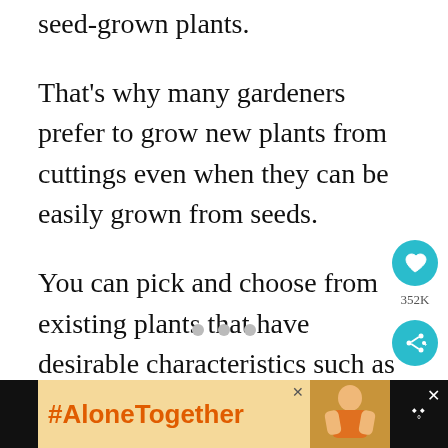seed-grown plants.
That's why many gardeners prefer to grow new plants from cuttings even when they can be easily grown from seeds.
You can pick and choose from existing plants that have desirable characteristics such as good vigor, optimum size, disease resistance and good yield.